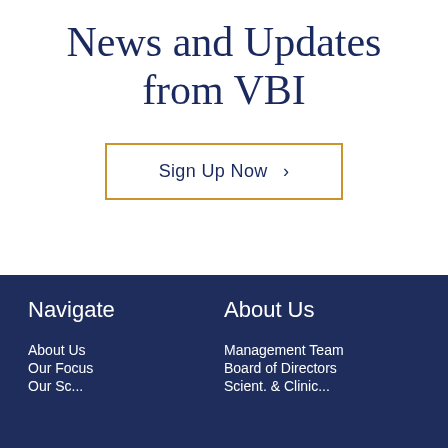News and Updates from VBI
Sign Up Now >
Navigate
About Us
About Us
Our Focus
Management Team
Board of Directors